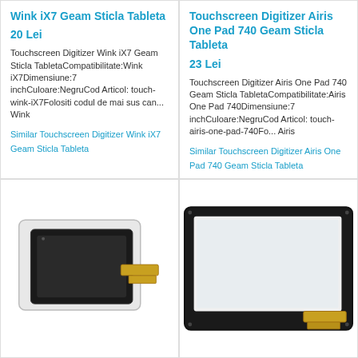Wink iX7 Geam Sticla Tableta
20 Lei
Touchscreen Digitizer Wink iX7 Geam Sticla TabletaCompatibilitate:Wink iX7Dimensiune:7 inchCuloare:NegruCod Articol: touch-wink-iX7Folositi codul de mai sus can... Wink
Similar Touchscreen Digitizer Wink iX7 Geam Sticla Tableta
Touchscreen Digitizer Airis One Pad 740 Geam Sticla Tableta
23 Lei
Touchscreen Digitizer Airis One Pad 740 Geam Sticla TabletaCompatibilitate:Airis One Pad 740Dimensiune:7 inchCuloare:NegruCod Articol: touch-airis-one-pad-740Fo... Airis
Similar Touchscreen Digitizer Airis One Pad 740 Geam Sticla Tableta
[Figure (photo): Touchscreen digitizer glass panel for tablet - white and black layered panels with flex cable connector]
[Figure (photo): Touchscreen digitizer glass panel for tablet - black framed rectangular panel with flex cable connector at bottom right]